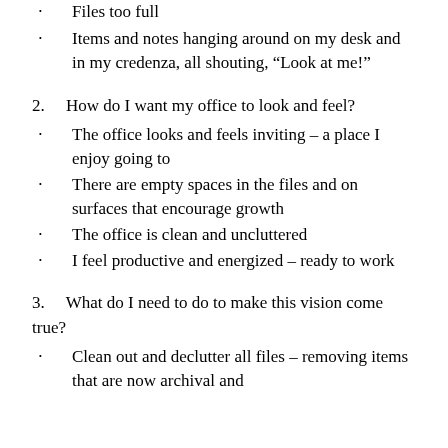Files too full
Items and notes hanging around on my desk and in my credenza, all shouting, “Look at me!”
2.    How do I want my office to look and feel?
The office looks and feels inviting – a place I enjoy going to
There are empty spaces in the files and on surfaces that encourage growth
The office is clean and uncluttered
I feel productive and energized – ready to work
3.    What do I need to do to make this vision come true?
Clean out and declutter all files – removing items that are now archival and